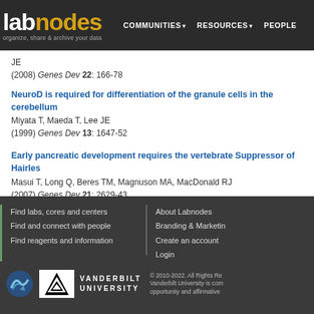labnodes | organize, share & archive your data | COMMUNITIES | RESOURCES | PEOPLE
JE
(2008) Genes Dev 22: 166-78
NeuroD is required for differentiation of the granule cells in the cerebellum
Miyata T, Maeda T, Lee JE
(1999) Genes Dev 13: 1647-52
Early pancreatic development requires the vertebrate Suppressor of Hairless
Masui T, Long Q, Beres TM, Magnuson MA, MacDonald RJ
(2007) Genes Dev 21: 2629-43
Find labs, cores and centers | Find and connect with people | Find reagents and information | About Labnodes | Branding & Marketing | Create an account | Login | © 2010-2022. All Rights Reserved. Vanderbilt University is committed to equal opportunity and affirmative